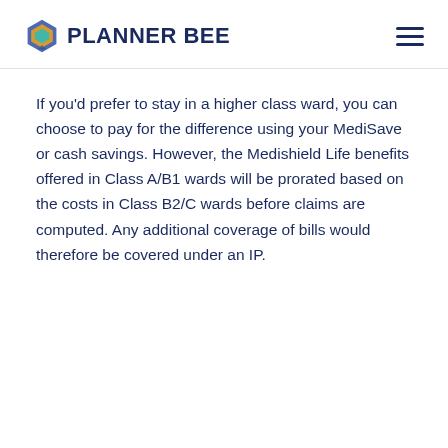PLANNER BEE
If you'd prefer to stay in a higher class ward, you can choose to pay for the difference using your MediSave or cash savings. However, the Medishield Life benefits offered in Class A/B1 wards will be prorated based on the costs in Class B2/C wards before claims are computed. Any additional coverage of bills would therefore be covered under an IP.